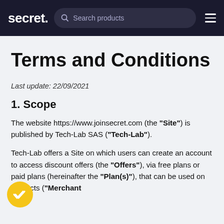secret. Search products
Terms and Conditions
Last update: 22/09/2021
1. Scope
The website https://www.joinsecret.com (the "Site") is published by Tech-Lab SAS ("Tech-Lab").
Tech-Lab offers a Site on which users can create an account to access discount offers (the "Offers"), via free plans or paid plans (hereinafter the "Plan(s)"), that can be used on products ("Merchant